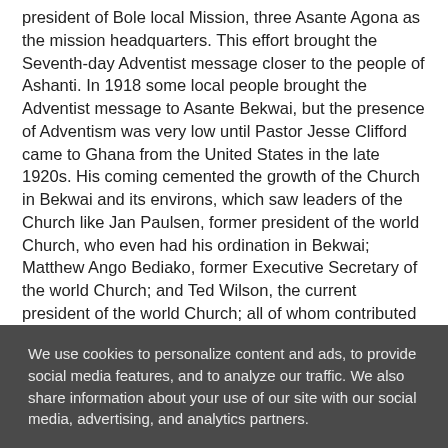president of Bole local Mission, three Asante Agona as the mission headquarters. This effort brought the Seventh-day Adventist message closer to the people of Ashanti. In 1918 some local people brought the Adventist message to Asante Bekwai, but the presence of Adventism was very low until Pastor Jesse Clifford came to Ghana from the United States in the late 1920s. His coming cemented the growth of the Church in Bekwai and its environs, which saw leaders of the Church like Jan Paulsen, former president of the world Church, who even had his ordination in Bekwai; Matthew Ango Bediako, former Executive Secretary of the world Church; and Ted Wilson, the current president of the world Church; all of whom contributed to the growth of the Church in Bekwai. The first Ministerial Training and Teacher Training School was established in the 1930s to serve the
We use cookies to personalize content and ads, to provide social media features, and to analyze our traffic. We also share information about your use of our site with our social media, advertising, and analytics partners.